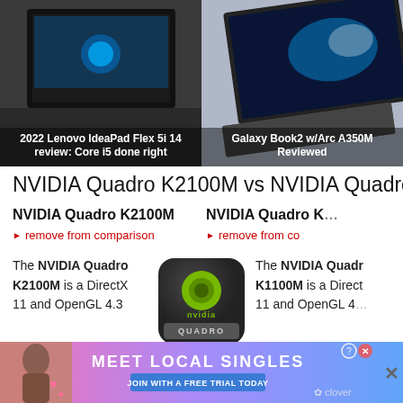[Figure (photo): Two laptop product images side by side. Left: 2022 Lenovo IdeaPad Flex 5i 14 showing Windows 11 UI. Right: Galaxy Book2 with Arc A350M showing blue galaxy wallpaper.]
2022 Lenovo IdeaPad Flex 5i 14 review: Core i5 done right
Galaxy Book2 w/Arc A350M Reviewed
NVIDIA Quadro K2100M vs NVIDIA Quadro K...
NVIDIA Quadro K2100M
NVIDIA Quadro K...
remove from comparison
remove from comparison
The NVIDIA Quadro K2100M is a DirectX 11 and OpenGL 4.3
[Figure (logo): NVIDIA Quadro logo - green NVIDIA eye logo on dark rounded square badge with 'nvidia QUADRO' text]
The NVIDIA Quadro K1100M is a DirectX 11 and OpenGL 4...
[Figure (screenshot): Advertisement banner: 'MEET LOCAL SINGLES - JOIN WITH A FREE TRIAL TODAY' by Clover]